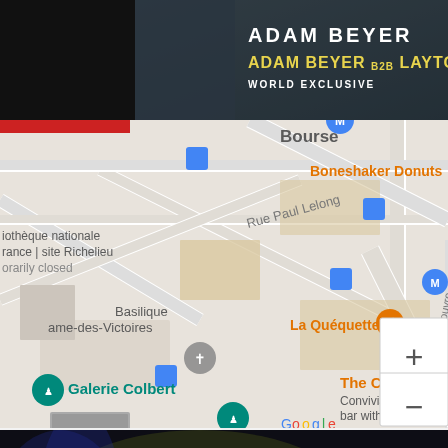[Figure (screenshot): Banner advertisement for Adam Beyer and Adam Beyer b2b Layton Giordani, World Exclusive, dark background with atmospheric imagery]
[Figure (map): Google Maps screenshot showing area around Bourse metro station in Paris, with landmarks including Basilique Notre-Dame-des-Victoires, Galerie Colbert, La Quéquetterie, Boneshaker Donuts, The Crazy Hea (bar), map controls showing + and - zoom buttons, Google logo and attribution: Keyboard shortcuts, Map data ©2022 Google, Terms of Use]
[Figure (photo): Dark atmospheric club/venue interior photo with blue and yellow/gold lighting effects, RA (Resident Advisor) logo in bottom right corner on red triangle]